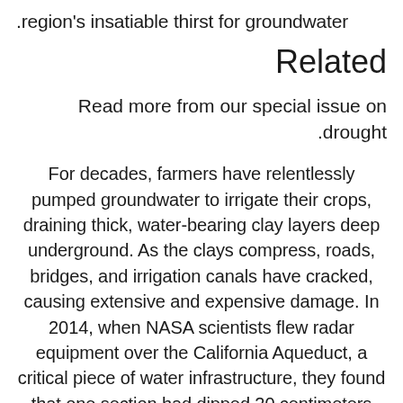.region's insatiable thirst for groundwater
Related
Read more from our special issue on .drought
For decades, farmers have relentlessly pumped groundwater to irrigate their crops, draining thick, water-bearing clay layers deep underground. As the clays compress, roads, bridges, and irrigation canals have cracked, causing extensive and expensive damage. In 2014, when NASA scientists flew radar equipment over the California Aqueduct, a critical piece of water infrastructure, they found that one section had dipped 20 centimeters over 4 months.